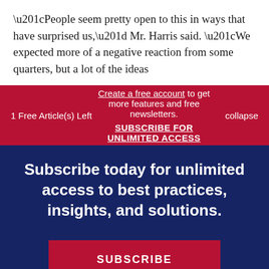“People seem pretty open to this in ways that have surprised us,” Mr. Harris said. “We expected more of a negative reaction from some quarters, but a lot of the ideas
1 Free Article(s) Left
Create a free account to get more features and free newsletters.
SUBSCRIBE FOR UNLIMITED ACCESS
collapse
Subscribe today for unlimited access to best practices, insights, and solutions.
SUBSCRIBE